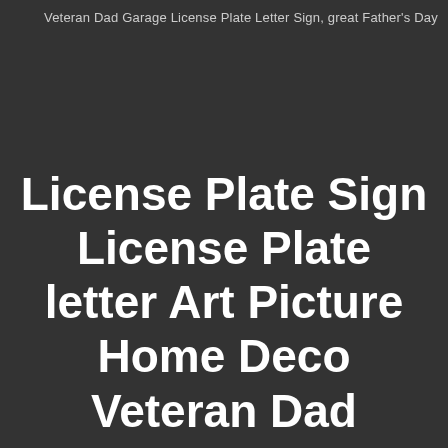Veteran Dad Garage License Plate Letter Sign, great Father's Day
License Plate Sign License Plate letter Art Picture Home Deco Veteran Dad